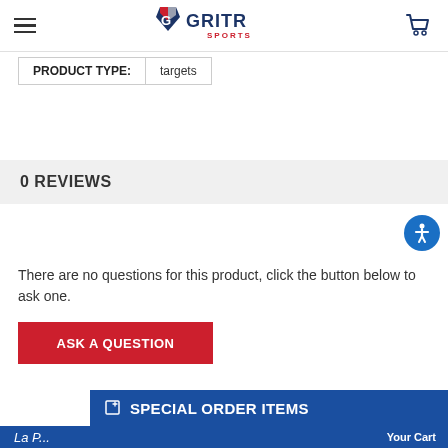[Figure (logo): GritrSports logo with shield icon and text GRITR SPORTS]
| PRODUCT TYPE: | targets |
0 REVIEWS
There are no questions for this product, click the button below to ask one.
ASK A QUESTION
SPECIAL ORDER ITEMS
Your Cart